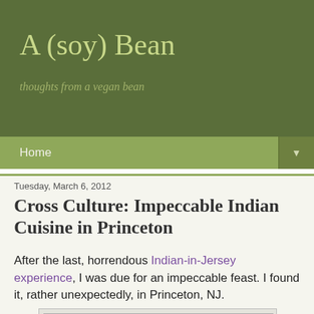A (soy) Bean
thoughts from a vegan bean
Home ▼
Tuesday, March 6, 2012
Cross Culture: Impeccable Indian Cuisine in Princeton
After the last, horrendous Indian-in-Jersey experience, I was due for an impeccable feast.  I found it, rather unexpectedly, in Princeton, NJ.
[Figure (photo): A tray of Indian food dishes including bread, bowls of curry and sides on a tiled surface]